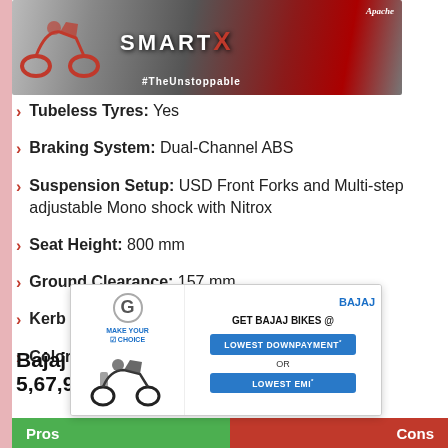[Figure (photo): TVS Apache SMART X promotional banner with motorcycle image and #TheUnstoppable hashtag]
Tubeless Tyres: Yes
Braking System: Dual-Channel ABS
Suspension Setup: USD Front Forks and Multi-step adjustable Mono shock with Nitrox
Seat Height: 800 mm
Ground Clearance: 157 mm
Kerb Weight: 180 kg
Colors: Canyon Red and Charcoal Black
Bajaj [covered by ad]: Rs. 5,67,9[covered by ad]
[Figure (advertisement): Bajaj bikes advertisement overlay: Make Your Choice - GET BAJAJ BIKES @ LOWEST DOWNPAYMENT* OR LOWEST EMI*]
Pros | Cons